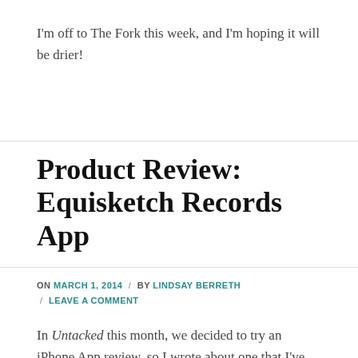I'm off to The Fork this week, and I'm hoping it will be drier!
Product Review: Equisketch Records App
ON MARCH 1, 2014 / BY LINDSAY BERRETH / LEAVE A COMMENT
In Untacked this month, we decided to try an iPhone App review, so I wrote about one that I've been using